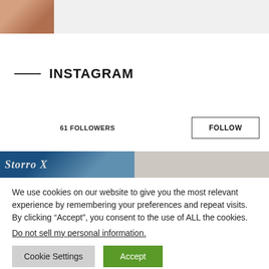[Figure (photo): Partial profile/thumbnail photo at top left of page]
INSTAGRAM
61 FOLLOWERS
FOLLOW
[Figure (screenshot): Instagram post preview images showing two thumbnails side by side, left with blue background and italic text 'Storro X', right with beige/grey background]
We use cookies on our website to give you the most relevant experience by remembering your preferences and repeat visits. By clicking “Accept”, you consent to the use of ALL the cookies.
Do not sell my personal information.
Cookie Settings
Accept